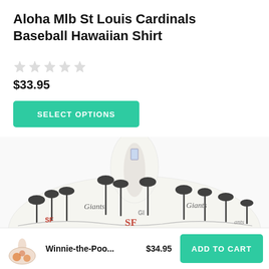Aloha Mlb St Louis Cardinals Baseball Hawaiian Shirt
[Figure (other): Five empty/grey star rating icons]
$33.95
SELECT OPTIONS
[Figure (photo): A white Hawaiian shirt with black palm tree and tropical island print, featuring SF Giants baseball team logos and script text. The shirt is spread open showing the collar and front.]
[Figure (photo): Small thumbnail of a Winnie-the-Pooh Hawaiian shirt in orange/floral print]
Winnie-the-Poo...
$34.95
ADD TO CART